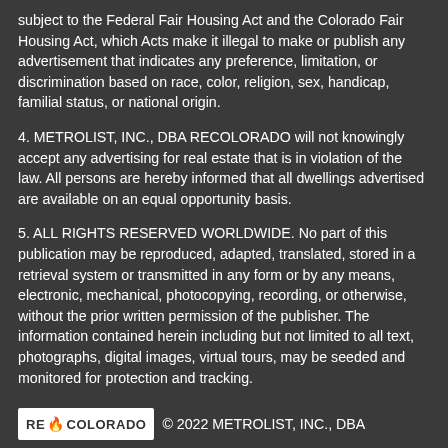subject to the Federal Fair Housing Act and the Colorado Fair Housing Act, which Acts make it illegal to make or publish any advertisement that indicates any preference, limitation, or discrimination based on race, color, religion, sex, handicap, familial status, or national origin.
4. METROLIST, INC., DBA RECOLORADO will not knowingly accept any advertising for real estate that is in violation of the law. All persons are hereby informed that all dwellings advertised are available on an equal opportunity basis.
5. ALL RIGHTS RESERVED WORLDWIDE. No part of this publication may be reproduced, adapted, translated, stored in a retrieval system or transmitted in any form or by any means, electronic, mechanical, photocopying, recording, or otherwise, without the prior written permission of the publisher. The information contained herein including but not limited to all text, photographs, digital images, virtual tours, may be seeded and monitored for protection and tracking.
© 2022 METROLIST, INC., DBA